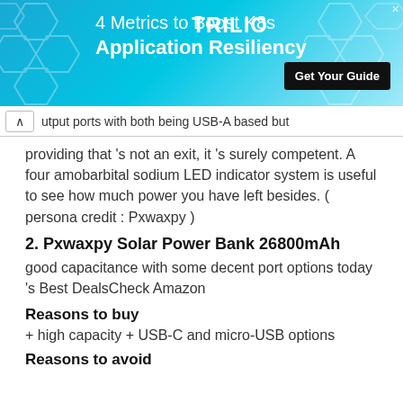[Figure (screenshot): Advertisement banner for TRILIO: '4 Metrics to Boost K8s Application Resiliency' with 'Get Your Guide' button on a blue/teal gradient background with hexagonal pattern]
utput ports with both being USB-A based but providing that 's not an exit, it 's surely competent. A four amobarbital sodium LED indicator system is useful to see how much power you have left besides. ( persona credit : Pxwaxpy )
2. Pxwaxpy Solar Power Bank 26800mAh
good capacitance with some decent port options today 's Best DealsCheck Amazon
Reasons to buy
+ high capacity + USB-C and micro-USB options
Reasons to avoid